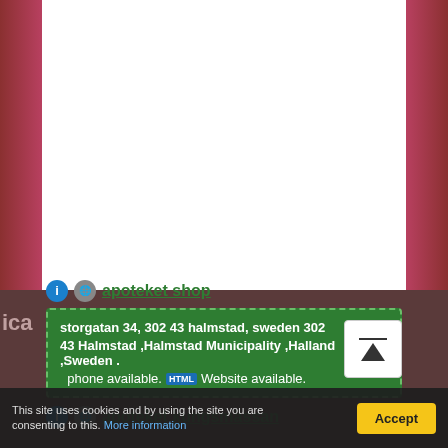[Figure (screenshot): Screenshot of a pharmacy/apoteket web directory listing page showing store entries with green info boxes, on a background of a pharmacy store interior image with shelves of products on the sides.]
apoteket shop
storgatan 34, 302 43 halmstad, sweden 302 43 Halmstad ,Halmstad Municipality ,Halland ,Sweden . phone available. Website available.
apoteket kungsmässan
This site uses cookies and by using the site you are consenting to this. More information
Accept